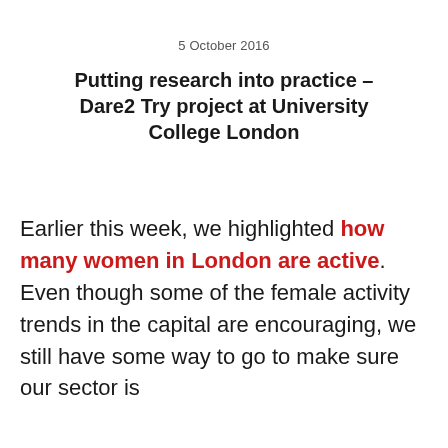5 October 2016
Putting research into practice – Dare2 Try project at University College London
Earlier this week, we highlighted how many women in London are active. Even though some of the female activity trends in the capital are encouraging, we still have some way to go to make sure our sector is